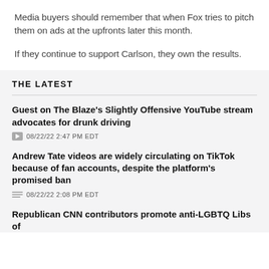Media buyers should remember that when Fox tries to pitch them on ads at the upfronts later this month.
If they continue to support Carlson, they own the results.
THE LATEST
Guest on The Blaze's Slightly Offensive YouTube stream advocates for drunk driving
08/22/22 2:47 PM EDT
Andrew Tate videos are widely circulating on TikTok because of fan accounts, despite the platform's promised ban
08/22/22 2:08 PM EDT
Republican CNN contributors promote anti-LGBTQ Libs of